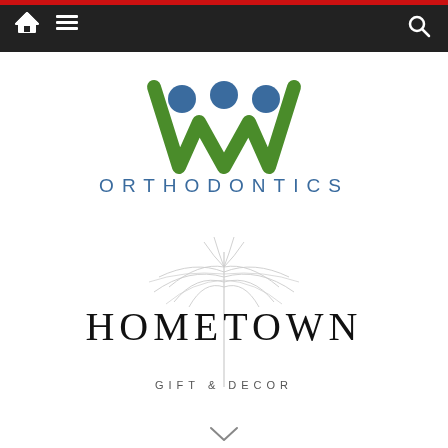Navigation bar with home, menu, and search icons
[Figure (logo): Orthodontics logo: green W-shaped tooth icon with blue circles above, text ORTHODONTICS in blue spaced letters below]
[Figure (logo): Hometown Gift & Decor logo: light gray palm leaf illustration behind large serif HOMETOWN text, with GIFT & DECOR in small spaced letters below]